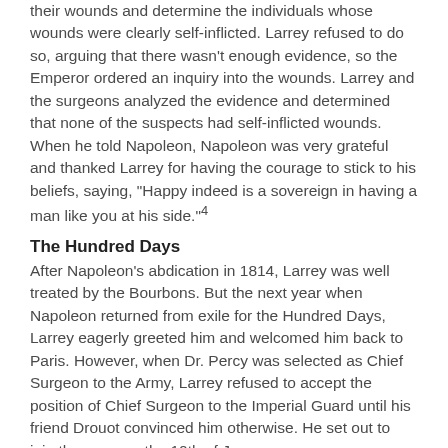their wounds and determine the individuals whose wounds were clearly self-inflicted. Larrey refused to do so, arguing that there wasn't enough evidence, so the Emperor ordered an inquiry into the wounds. Larrey and the surgeons analyzed the evidence and determined that none of the suspects had self-inflicted wounds. When he told Napoleon, Napoleon was very grateful and thanked Larrey for having the courage to stick to his beliefs, saying, "Happy indeed is a sovereign in having a man like you at his side."4
The Hundred Days
After Napoleon's abdication in 1814, Larrey was well treated by the Bourbons. But the next year when Napoleon returned from exile for the Hundred Days, Larrey eagerly greeted him and welcomed him back to Paris. However, when Dr. Percy was selected as Chief Surgeon to the Army, Larrey refused to accept the position of Chief Surgeon to the Imperial Guard until his friend Drouot convinced him otherwise. He set out to join the army on the 10th of June.